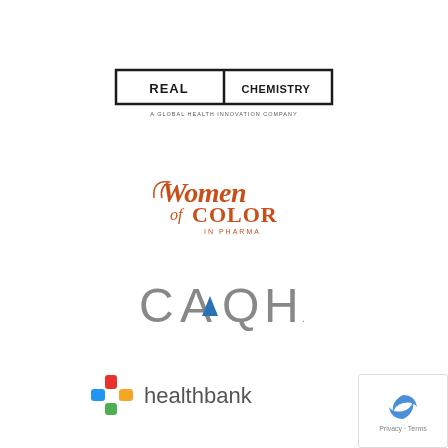[Figure (logo): Real Chemistry logo — bold sans-serif text 'REAL | CHEMISTRY' inside a rectangular border, with subtitle 'A GLOBAL HEALTH INNOVATION COMPANY']
[Figure (logo): Women of Color in Pharma logo — decorative script and serif text in orange/brown tones]
[Figure (logo): CAQH logo — large grey sans-serif letters with a blue triangle accent]
[Figure (logo): healthbank logo — colorful cross icon (red, yellow, green, blue quadrants) followed by 'healthbank' in grey sans-serif]